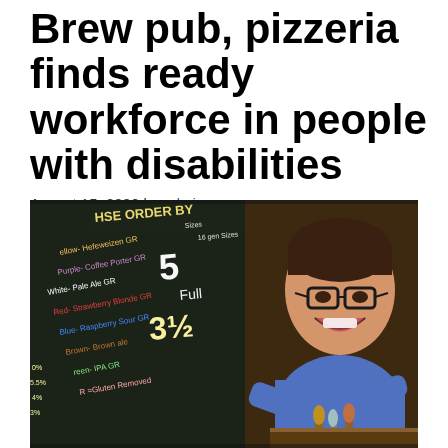Brew pub, pizzeria finds ready workforce in people with disabilities
August 15, 2022 by admin
[Figure (photo): A smiling young man with glasses in a blue shirt leaning toward the camera near beer taps, with a chalkboard beer menu visible in the background listing various beer types including Hefeweizen, Coffee Porter, Pale Ale, Strawberry Blonde, Raspberry Sour, Brown Ale, IPA, and gluten-removed options with sizes and prices.]